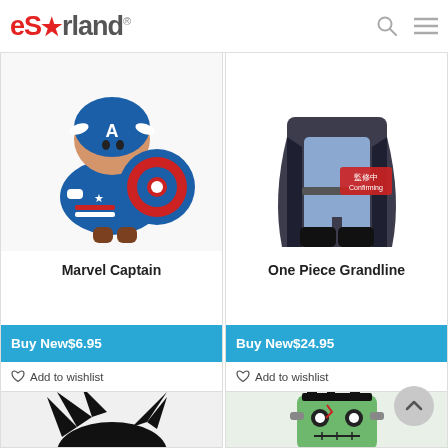eStarland
[Figure (photo): Captain America chibi/plush figure holding shield, blue costume with star]
Marvel Captain
Buy New$6.95
Add to wishlist
[Figure (photo): One Piece Grandline anime figure from waist down, blue pants, black boots, cape, with Japanese approval stamp]
One Piece Grandline
Buy New$24.95
Add to wishlist
[Figure (photo): Anime character with black spiky hair (partially visible, bottom of page)]
[Figure (photo): Frankenstein monster face green figure/toy (partially visible, bottom of page)]